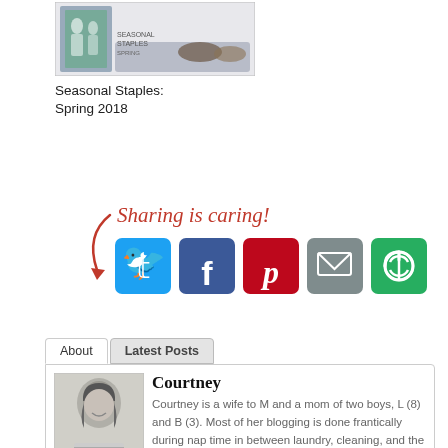[Figure (photo): Book or product image thumbnail for 'Seasonal Staples: Spring 2018']
Seasonal Staples:
Spring 2018
[Figure (infographic): Sharing is caring! social share buttons: Twitter (blue), Facebook (dark blue), Pinterest (red), Email (gray), Other (green) with a red arrow pointing to the buttons and handwritten text 'Sharing is caring!']
About | Latest Posts tab section header
[Figure (photo): Black and white portrait photo of Courtney, a woman with long hair wearing a striped shirt, smiling]
Courtney
Courtney is a wife to M and a mom of two boys, L (8) and B (3). Most of her blogging is done frantically during nap time in between laundry, cleaning, and the occasional housewives rerun. Or the brief hour or so that she can stay awake after the boys go down for the night. She loves her sleep. Read